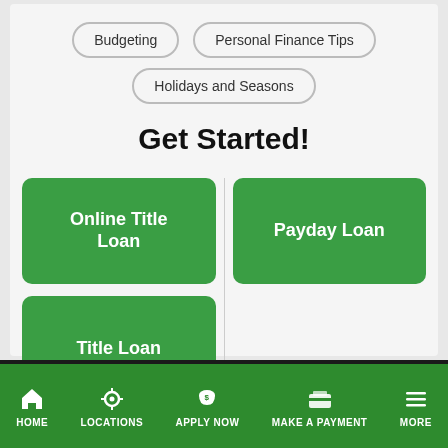Budgeting
Personal Finance Tips
Holidays and Seasons
Get Started!
Online Title Loan
Payday Loan
Title Loan
HOME   LOCATIONS   APPLY NOW   MAKE A PAYMENT   MORE